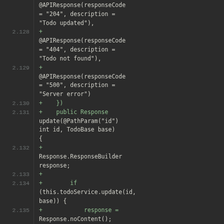[Figure (screenshot): Dark-themed code diff view showing Java source lines 2.128 through 2.138, with added lines marked by '+' in green, displaying @APIResponse annotations and a public Response update method with conditional logic.]